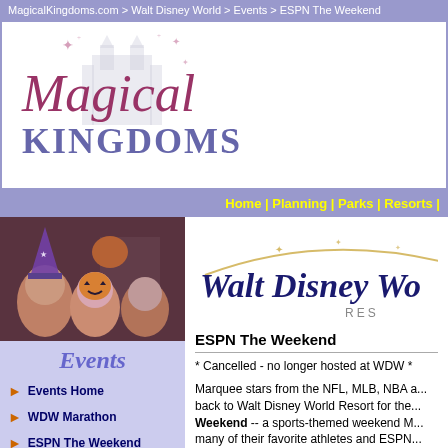MagicalKingdoms.com > Walt Disney World > Events > ESPN The Weekend
[Figure (logo): Magical Kingdoms logo with castle silhouette and sparkles]
Home | Planning | Parks | Resorts |
[Figure (photo): Disney character mascots dressed in Halloween costumes]
Events
Events Home
WDW Marathon
ESPN The Weekend
Flower & Garden Festival
[Figure (logo): Walt Disney World Resort logo with golden arc and stars]
ESPN The Weekend
* Cancelled - no longer hosted at WDW *
Marquee stars from the NFL, MLB, NBA a... back to Walt Disney World Resort for the... Weekend -- a sports-themed weekend M... many of their favorite athletes and ESPN...